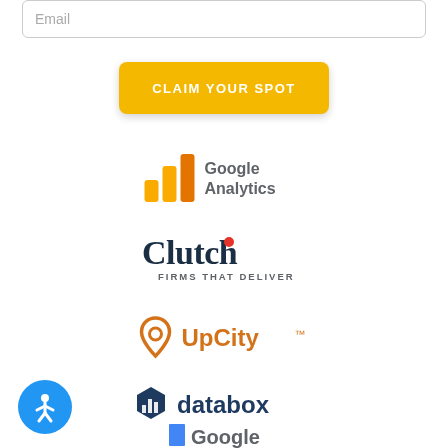Email
CLAIM YOUR SPOT
[Figure (logo): Google Analytics logo with bar chart icon in orange/yellow and text 'Google Analytics']
[Figure (logo): Clutch logo with red dot on letter 't' and tagline 'FIRMS THAT DELIVER']
[Figure (logo): UpCity logo with orange location pin icon and text 'UpCity']
[Figure (logo): databox logo with dark blue hexagon icon and text 'databox']
[Figure (logo): Google logo (partially visible at bottom)]
[Figure (illustration): Blue circular accessibility button with white person icon, bottom left corner]